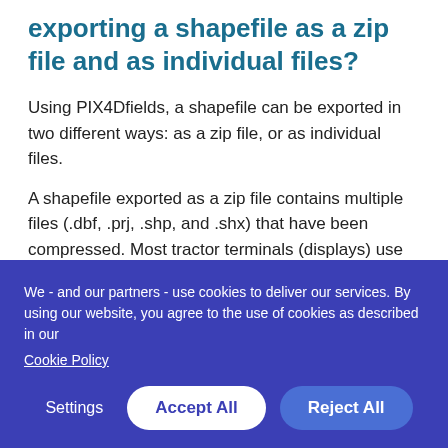exporting a shapefile as a zip file and as individual files?
Using PIX4Dfields, a shapefile can be exported in two different ways: as a zip file, or as individual files.
A shapefile exported as a zip file contains multiple files (.dbf, .prj, .shp, and .shx) that have been compressed. Most tractor terminals (displays) use individual shapefiles exported to a specific folder on
We - and our partners - use cookies to deliver our services. By using our website, you agree to the use of cookies as described in our Cookie Policy
Settings  Accept All  Reject All